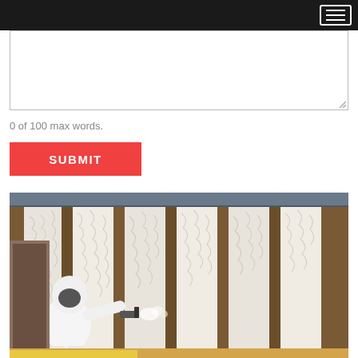Navigation bar with hamburger menu
0 of 100 max words.
SUBMIT
[Figure (photo): Worker in white protective suit spraying spray foam insulation between wooden wall studs in a building under construction. The wall shows alternating strips of wood framing and white foam insulation. A grey ceiling rail is visible at the top.]